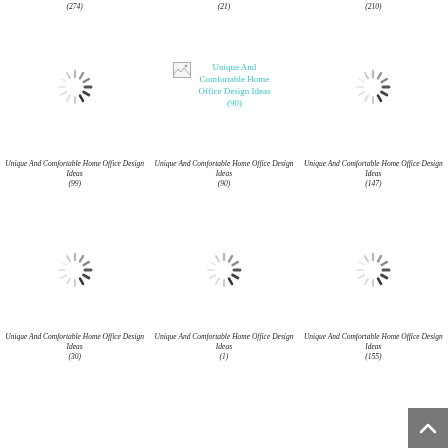(274)
(21)
(210)
[Figure (screenshot): Broken image placeholder with teal title link: Unique And Comfortable Home Office Design Ideas (90)]
[Figure (illustration): Loading spinner icon (left middle)]
[Figure (illustration): Loading spinner icon (right middle)]
Unique And Comfortable Home Office Design Ideas (99)
Unique And Comfortable Home Office Design Ideas (90)
Unique And Comfortable Home Office Design Ideas (147)
[Figure (illustration): Loading spinner icon (bottom left)]
[Figure (illustration): Loading spinner icon (bottom middle)]
[Figure (illustration): Loading spinner icon (bottom right, partially hidden by scroll button)]
Unique And Comfortable Home Office Design Ideas (30)
Unique And Comfortable Home Office Design Ideas (1)
Unique And Comfortable Home Office Design Ideas (155)